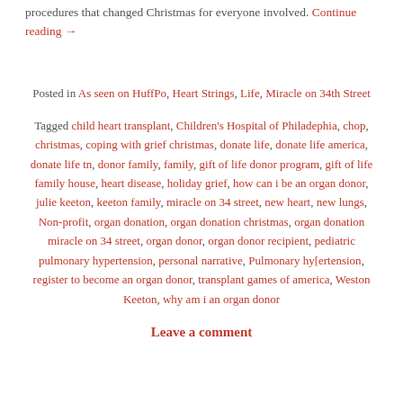procedures that changed Christmas for everyone involved. Continue reading →
Posted in As seen on HuffPo, Heart Strings, Life, Miracle on 34th Street
Tagged child heart transplant, Children's Hospital of Philadephia, chop, christmas, coping with grief christmas, donate life, donate life america, donate life tn, donor family, family, gift of life donor program, gift of life family house, heart disease, holiday grief, how can i be an organ donor, julie keeton, keeton family, miracle on 34 street, new heart, new lungs, Non-profit, organ donation, organ donation christmas, organ donation miracle on 34 street, organ donor, organ donor recipient, pediatric pulmonary hypertension, personal narrative, Pulmonary hy[ertension, register to become an organ donor, transplant games of america, Weston Keeton, why am i an organ donor
Leave a comment